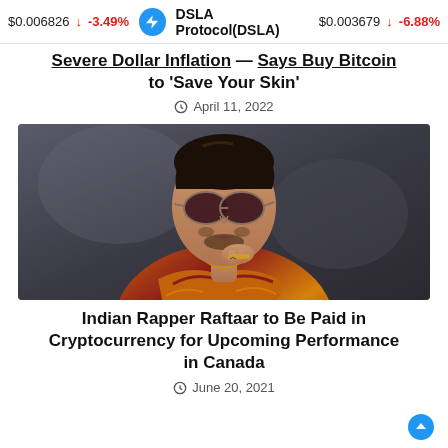$0.006826 ↓ -3.49%  DSLA Protocol(DSLA)  $0.003679 ↓ -6.88%
Severe Dollar Inflation — Says Buy Bitcoin to 'Save Your Skin'
April 11, 2022
[Figure (photo): Indian rapper Raftaar wearing sunglasses and a colorful patterned shirt, posed with hand near chin]
Indian Rapper Raftaar to Be Paid in Cryptocurrency for Upcoming Performance in Canada
June 20, 2021